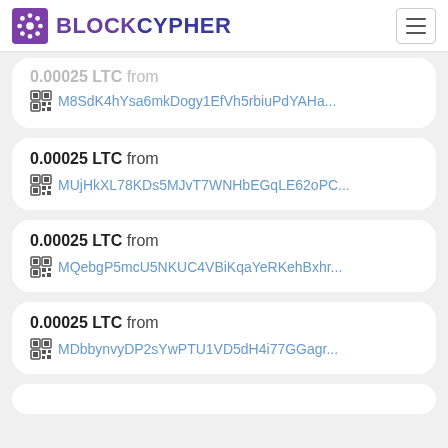BLOCKCYPHER
0.00025 LTC from M8SdK4hYsa6mkDogy1EfVh5rbiuPdYAHa...
0.00025 LTC from MUjHkXL78KDs5MJvT7WNHbEGqLE62oPC...
0.00025 LTC from MQebgP5mcU5NKUC4VBiKqaYeRKehBxhr...
0.00025 LTC from MDbbynvyDP2sYwPTU1VD5dH4i77GGagr...